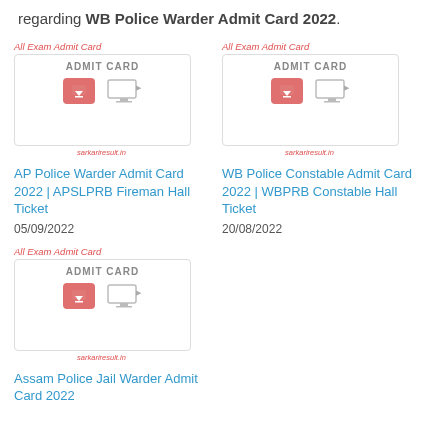regarding WB Police Warder Admit Card 2022.
[Figure (screenshot): Admit card thumbnail for AP Police Warder - All Exam Admit Card banner with download button and monitor icon]
AP Police Warder Admit Card 2022 | APSLPRB Fireman Hall Ticket
05/09/2022
[Figure (screenshot): Admit card thumbnail for WB Police Constable - All Exam Admit Card banner with download button and monitor icon]
WB Police Constable Admit Card 2022 | WBPRB Constable Hall Ticket
20/08/2022
[Figure (screenshot): Admit card thumbnail for Assam Police Jail Warder - All Exam Admit Card banner with download button and monitor icon]
Assam Police Jail Warder Admit Card 2022